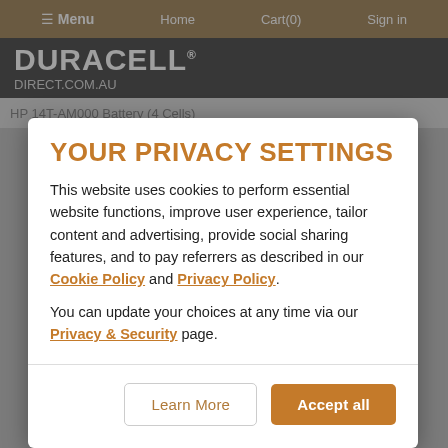Menu  Home  Cart(0)  Sign in
[Figure (logo): DURACELL logo with DIRECT.COM.AU subtitle on dark background]
HP 14T-AM000 Battery (4 Cells)
YOUR PRIVACY SETTINGS
This website uses cookies to perform essential website functions, improve user experience, tailor content and advertising, provide social sharing features, and to pay referrers as described in our Cookie Policy and Privacy Policy.
You can update your choices at any time via our Privacy & Security page.
Learn More
Accept all